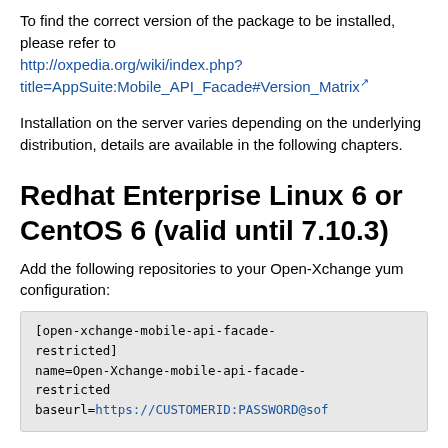To find the correct version of the package to be installed, please refer to http://oxpedia.org/wiki/index.php?title=AppSuite:Mobile_API_Facade#Version_Matrix
Installation on the server varies depending on the underlying distribution, details are available in the following chapters.
Redhat Enterprise Linux 6 or CentOS 6 (valid until 7.10.3)
Add the following repositories to your Open-Xchange yum configuration:
[open-xchange-mobile-api-facade-restricted]
name=Open-Xchange-mobile-api-facade-restricted
baseurl=https://CUSTOMERID:PASSWORD@sof